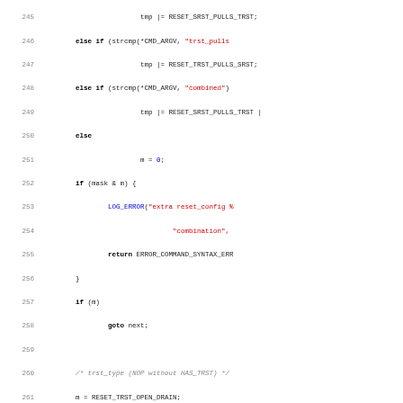[Figure (screenshot): Source code listing showing C code for reset configuration parsing, lines 245-277, with syntax highlighting (keywords in bold, strings in red, numbers in blue, comments in gray).]